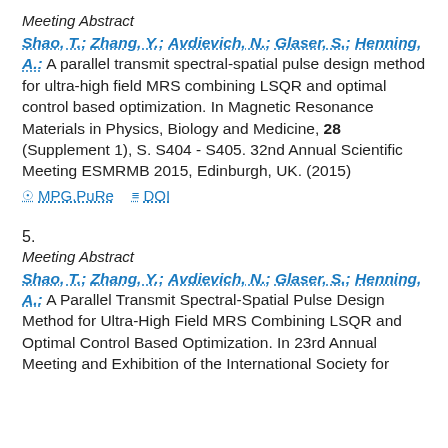Meeting Abstract
Shao, T.; Zhang, Y.; Avdievich, N.; Glaser, S.; Henning, A.: A parallel transmit spectral-spatial pulse design method for ultra-high field MRS combining LSQR and optimal control based optimization. In Magnetic Resonance Materials in Physics, Biology and Medicine, 28 (Supplement 1), S. S404 - S405. 32nd Annual Scientific Meeting ESMRMB 2015, Edinburgh, UK. (2015)
MPG.PuRe   DOI
5.
Meeting Abstract
Shao, T.; Zhang, Y.; Avdievich, N.; Glaser, S.; Henning, A.: A Parallel Transmit Spectral-Spatial Pulse Design Method for Ultra-High Field MRS Combining LSQR and Optimal Control Based Optimization. In 23rd Annual Meeting and Exhibition of the International Society for